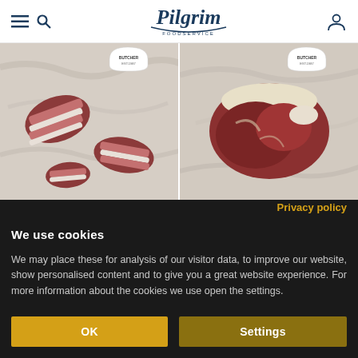[Figure (logo): Pilgrim Foodservice logo with serif italic text and swoosh underline]
[Figure (photo): Two product images side by side: left shows sliced raw pork ribs/belly on marble surface with a badge; right shows a raw lamb/beef joint on marble surface with a badge]
Privacy policy
We use cookies
We may place these for analysis of our visitor data, to improve our website, show personalised content and to give you a great website experience. For more information about the cookies we use open the settings.
OK
Settings